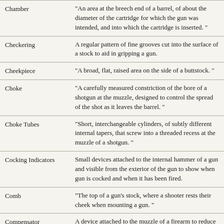| Term | Definition |
| --- | --- |
| Chamber | "An area at the breech end of a barrel, of about the diameter of the cartridge for which the gun was intended, and into which the cartridge is inserted. " |
| Checkering | A regular pattern of fine grooves cut into the surface of a stock to aid in gripping a gun. |
| Cheekpiece | "A broad, flat, raised area on the side of a buttstock. " |
| Choke | "A carefully measured constriction of the bore of a shotgun at the muzzle, designed to control the spread of the shot as it leaves the barrel. " |
| Choke Tubes | "Short, interchangeable cylinders, of subtly different internal tapers, that screw into a threaded recess at the muzzle of a shotgun. " |
| Cocking Indicators | Small devices attached to the internal hammer of a gun and visible from the exterior of the gun to show when gun is cocked and when it has been fired. |
| Comb | "The top of a gun's stock, where a shooter rests their cheek when mounting a gun. " |
| Compensator | A device attached to the muzzle of a firearm to reduce the upward movement of the muzzle brought about by recoil. |